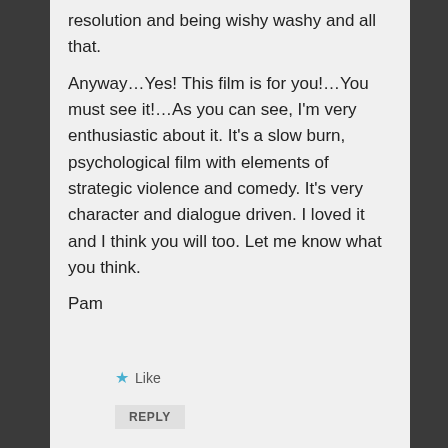resolution and being wishy washy and all that. Anyway…Yes! This film is for you!…You must see it!…As you can see, I'm very enthusiastic about it. It's a slow burn, psychological film with elements of strategic violence and comedy. It's very character and dialogue driven. I loved it and I think you will too. Let me know what you think.
Pam
Like
REPLY